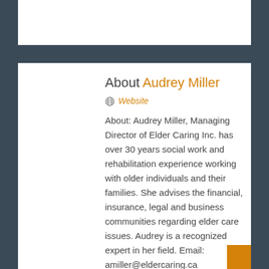About Audrey Miller
Website
About: Audrey Miller, Managing Director of Elder Caring Inc. has over 30 years social work and rehabilitation experience working with older individuals and their families. She advises the financial, insurance, legal and business communities regarding elder care issues. Audrey is a recognized expert in her field. Email: amiller@eldercaring.ca